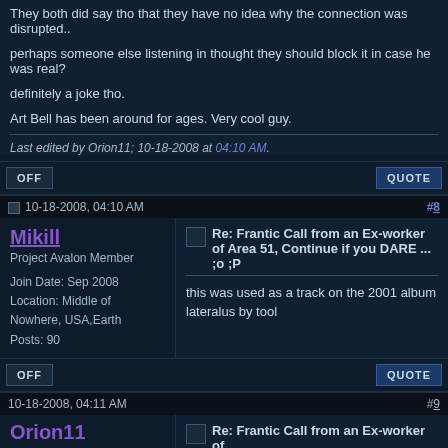They both did say tho that they have no idea why the connection was disrupted..

perhaps someone else listening in thought they should block it in case he was real?

definitely a joke tho.

Art Bell has been around for ages. Very cool guy.
Last edited by Orion11; 10-18-2008 at 04:10 AM.
10-18-2008, 04:10 AM  #8
Mikill
Project Avalon Member
Join Date: Sep 2008
Location: Middle of Nowhere, USA,Earth
Posts: 90
Re: Frantic Call from an Ex-worker of Area 51, Continue if you DARE ... ;o ;P
this was used as a track on the 2001 album lateralus by tool
10-18-2008, 04:11 AM  #9
Orion11
Re: Frantic Call from an Ex-worker of